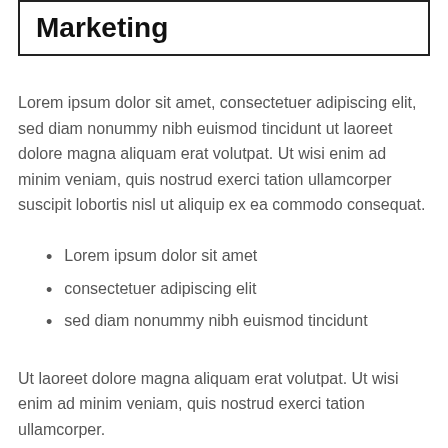Marketing
Lorem ipsum dolor sit amet, consectetuer adipiscing elit, sed diam nonummy nibh euismod tincidunt ut laoreet dolore magna aliquam erat volutpat. Ut wisi enim ad minim veniam, quis nostrud exerci tation ullamcorper suscipit lobortis nisl ut aliquip ex ea commodo consequat.
Lorem ipsum dolor sit amet
consectetuer adipiscing elit
sed diam nonummy nibh euismod tincidunt
Ut laoreet dolore magna aliquam erat volutpat. Ut wisi enim ad minim veniam, quis nostrud exerci tation ullamcorper.
Branding
Design